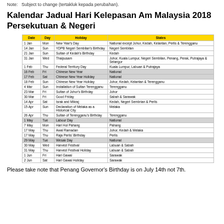Note: Subject to change (tertakluk kepada perubahan).
Kalendar Jadual Hari Kelepasan Am Malaysia 2018 Persekutuan & Negeri
| Date | Day | Holiday | States |
| --- | --- | --- | --- |
| 1 Jan | Mon | New Year's Day | National except Johor, Kedah, Kelantan, Perlis & Terengganu |
| 14 Jan | Sun | YDPB Negeri Sembilan's Birthday | Negeri Sembilan |
| 21 Jan | Sun | Sultan of Kedah's Birthday | Kedah |
| 31 Jan | Wed | Thaipusam | Johor, Kuala Lumpur, Negeri Sembilan, Penang, Perak, Putrajaya & Selangor |
| 1 Feb | Thu | Federal Territory Day | Kuala Lumpur, Labuan & Putrajaya |
| 16 Feb | Fri | Chinese New Year | National |
| 17 Feb | Sat | Chinese New Year Holiday | National |
| 18 Feb | Sun | Chinese New Year Holiday | Johor, Kedah, Kelantan & Terengganu |
| 4 Mar | Sun | Installation of Sultan Terengganu | Terengganu |
| 23 Mar | Fri | Sultan of Johor's Birthday | Johor |
| 30 Mar | Fri | Good Friday | Sabah & Sarawak |
| 14 Apr | Sat | Israk and Mikraj | Kedah, Negeri Sembilan & Perlis |
| 15 Apr | Sun | Declaration of Melaka as a Historical City | Melaka |
| 26 Apr | Thu | Sultan of Terengganu's Birthday | Terengganu |
| 1 May | Tue | Labour Day | National |
| 7 May | Mon | Hari Hol Pahang | Pahang |
| 17 May | Thu | Awal Ramadan | Johor, Kedah & Melaka |
| 17 May | Thu | Raja Perlis' Birthday | Perlis |
| 29 May | Tue | Wesak Day | National |
| 30 May | Wed | Harvest Festival | Labuan & Sabah |
| 31 May | Thu | Harvest Festival Holiday | Labuan & Sabah |
| 1 Jun | Fri | Hari Gawai | Sarawak |
| 2 Jun | Sat | Hari Gawai Holiday | Sarawak |
Please take note that Penang Governor's Birthday is on July 14th not 7th.